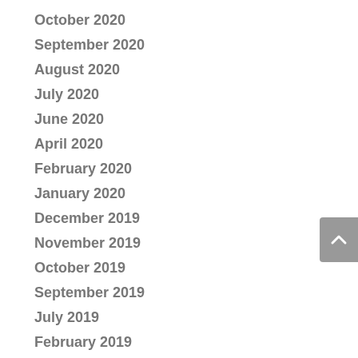October 2020
September 2020
August 2020
July 2020
June 2020
April 2020
February 2020
January 2020
December 2019
November 2019
October 2019
September 2019
July 2019
February 2019